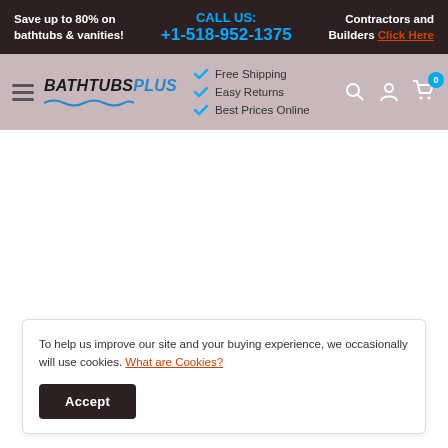Save up to 80% on bathtubs & vanities! | CALL US: +1-518-952-1375 | Contractors and Builders Click Here
[Figure (screenshot): BathtubsPlus website navigation bar with logo, checkmarks for Free Shipping, Easy Returns, Best Prices Online, and icons for search, account, and cart with 0 items]
To help us improve our site and your buying experience, we occasionally will use cookies. What are Cookies?